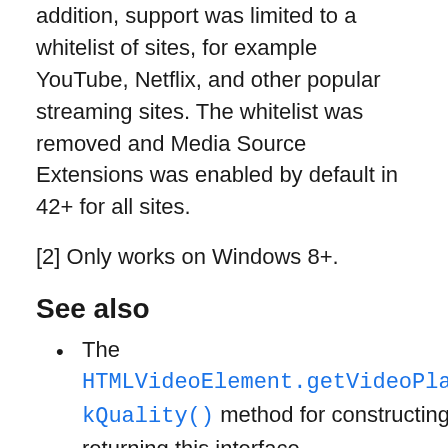addition, support was limited to a whitelist of sites, for example YouTube, Netflix, and other popular streaming sites. The whitelist was removed and Media Source Extensions was enabled by default in 42+ for all sites.
[2] Only works on Windows 8+.
See also
The HTMLVideoElement.getVideoPlaybackQuality() method for constructing and returning this interface.
MediaSource